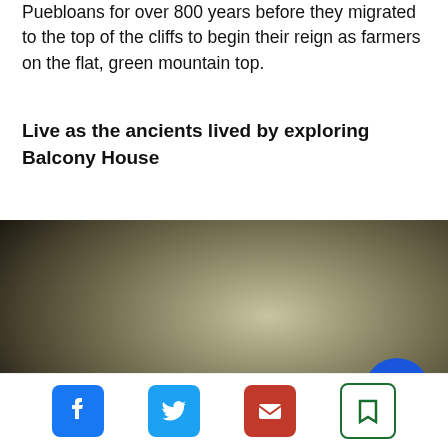Puebloans for over 800 years before they migrated to the top of the cliffs to begin their reign as farmers on the flat, green mountain top.
Live as the ancients lived by exploring Balcony House
[Figure (photo): A blurred/dark photograph of an ancient cliff dwelling or rock formation, showing beige and brown tones with heavy vignetting and dark shadows at the bottom.]
Mesa Verde's Balcony House is probably one of the most sites on